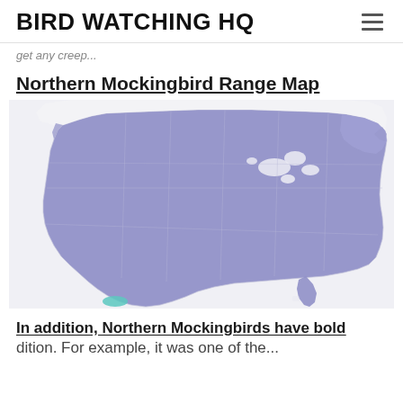BIRD WATCHING HQ
get any creep...
Northern Mockingbird Range Map
[Figure (map): Northern Mockingbird range map showing distribution across the continental United States, highlighted in blue-purple shading covering most of the lower 48 states, with a small teal/cyan area in the southern tip near Mexico.]
In addition, Northern Mockingbirds have bold
dition. For example, it was one of the...